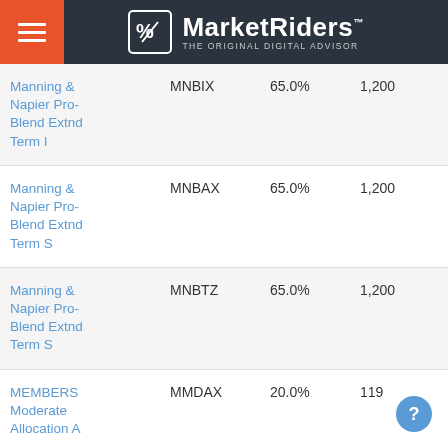MarketRiders — THE ORIGINAL DIGITAL ADVISOR
| Fund Name | Ticker | Allocation | Min | Expense Ratio |
| --- | --- | --- | --- | --- |
| Manning & Napier Pro-Blend Extnd Term I | MNBIX | 65.0% | 1,200 | 0.04% |
| Manning & Napier Pro-Blend Extnd Term S | MNBAX | 65.0% | 1,200 | 1.09% |
| Manning & Napier Pro-Blend Extnd Term S | MNBTZ | 65.0% | 1,200 | 1.09% |
| MEMBERS Moderate Allocation A | MMDAX | 20.0% | 119 | 1.52% |
| MFS ... | MAMK7... | 10.0% | 2,400 | 1.44% |